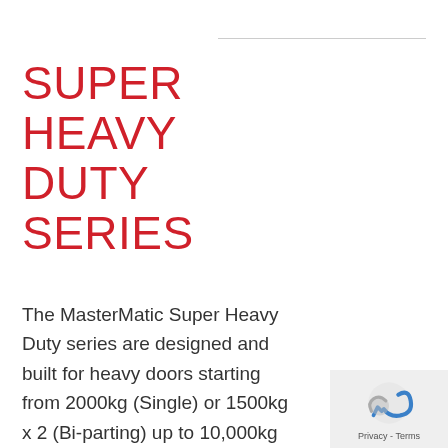SUPER HEAVY DUTY SERIES
The MasterMatic Super Heavy Duty series are designed and built for heavy doors starting from 2000kg (Single) or 1500kg x 2 (Bi-parting) up to 10,000kg (Single) or 8000kg x 2 (Bi-